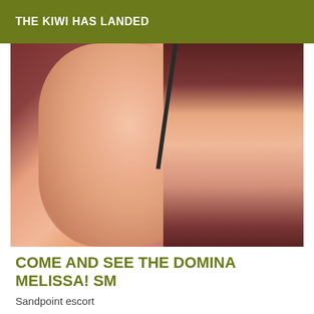THE KIWI HAS LANDED
[Figure (photo): Close-up photo of a person's legs and lower body, dark reddish-brown background, skin tones visible, dark strap or clothing detail]
COME AND SEE THE DOMINA MELISSA! SM
Sandpoint escort